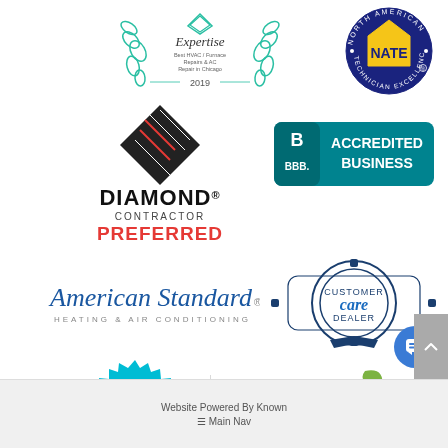[Figure (logo): Expertise badge - Best HVAC/Furnace Repairs & AC Repair in Chicago 2019, with laurel wreath in teal/green]
[Figure (logo): NATE - North American Technician Excellence circular badge, navy and gold]
[Figure (logo): Diamond Contractor Preferred logo - diamond shape in black/red with text]
[Figure (logo): BBB Accredited Business badge in teal]
[Figure (logo): American Standard Heating & Air Conditioning logo in blue italic script]
[Figure (logo): Customer Care Dealer badge in dark blue circular seal]
[Figure (logo): Installer badge in cyan/blue starburst circle]
[Figure (logo): energySMART - A Nicor Gas program, Contractor Circle Member]
Website Powered By Known
Main Nav